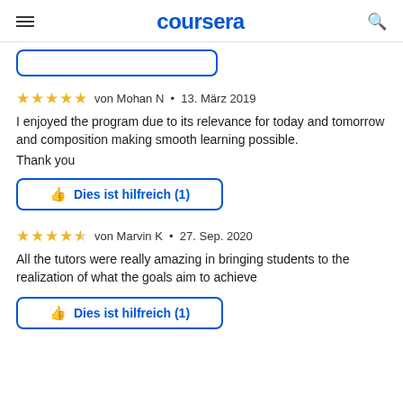coursera
★★★★★ von Mohan N • 13. März 2019
I enjoyed the program due to its relevance for today and tomorrow and composition making smooth learning possible.

Thank you
Dies ist hilfreich (1)
★★★★☆ von Marvin K • 27. Sep. 2020
All the tutors were really amazing in bringing students to the realization of what the goals aim to achieve
Dies ist hilfreich (1)